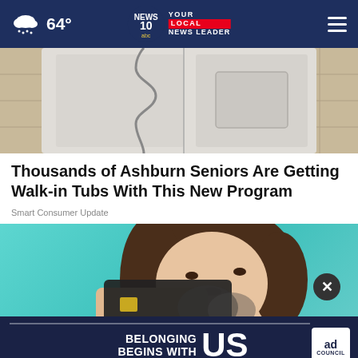64° | NEWS10 YOUR LOCAL NEWS LEADER
[Figure (photo): Walk-in tub door with S-curve cutout detail, beige stone tile background]
Thousands of Ashburn Seniors Are Getting Walk-in Tubs With This New Program
Smart Consumer Update
[Figure (photo): Young woman holding a dark credit card up to her eye against a teal background, with an Ad Council 'Belonging Begins with US' banner overlay and a close button]